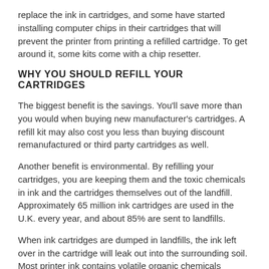replace the ink in cartridges, and some have started installing computer chips in their cartridges that will prevent the printer from printing a refilled cartridge. To get around it, some kits come with a chip resetter.
WHY YOU SHOULD REFILL YOUR CARTRIDGES
The biggest benefit is the savings. You'll save more than you would when buying new manufacturer's cartridges. A refill kit may also cost you less than buying discount remanufactured or third party cartridges as well.
Another benefit is environmental. By refilling your cartridges, you are keeping them and the toxic chemicals in ink and the cartridges themselves out of the landfill. Approximately 65 million ink cartridges are used in the U.K. every year, and about 85% are sent to landfills.
When ink cartridges are dumped in landfills, the ink left over in the cartridge will leak out into the surrounding soil. Most printer ink contains volatile organic chemicals (VOC's), which can cause cancer and congenital disabilities. The plastics used in cartridges are engineering-grade polymers; they take approximately 1,000 years to decompose, according to some estimates.
THE DRAWBACKS OF REFILLING YOUR INK CARTRIDGES